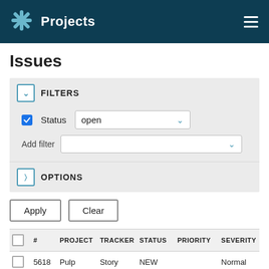Projects
Issues
FILTERS
Status  open
Add filter
OPTIONS
Apply   Clear
|  | # | PROJECT | TRACKER | STATUS | PRIORITY | SEVERITY |
| --- | --- | --- | --- | --- | --- | --- |
|  | 5618 | Pulp | Story | NEW |  | Normal |